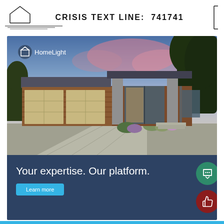CRISIS TEXT LINE: 741741
[Figure (photo): HomeLight advertisement showing a modern single-story house with wood siding, metal roof, large garage doors, and landscaping at dusk/twilight. The HomeLight logo appears in the top left of the image. Below the house photo is a dark navy panel with the tagline 'Your expertise. Our platform.' and a cyan 'Learn more' button.]
Your expertise. Our platform.
Learn more